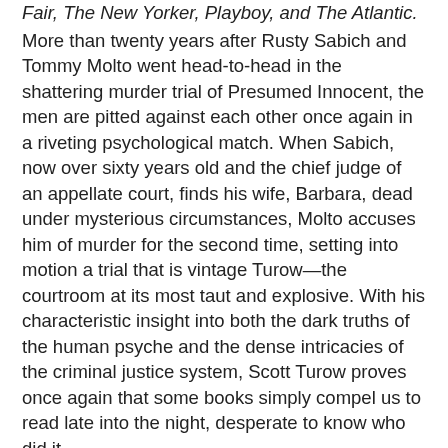Fair, The New Yorker, Playboy, and The Atlantic.
More than twenty years after Rusty Sabich and Tommy Molto went head-to-head in the shattering murder trial of Presumed Innocent, the men are pitted against each other once again in a riveting psychological match. When Sabich, now over sixty years old and the chief judge of an appellate court, finds his wife, Barbara, dead under mysterious circumstances, Molto accuses him of murder for the second time, setting into motion a trial that is vintage Turow—the courtroom at its most taut and explosive. With his characteristic insight into both the dark truths of the human psyche and the dense intricacies of the criminal justice system, Scott Turow proves once again that some books simply compel us to read late into the night, desperate to know who did it.
“Scott Turow’s new novel is the dedicated fiction-reader’s version of El Dorado: a driving, unputdownable courtroom drama/murder mystery that is also a literary treasure, written in language that sparkles with clarity and resonates with honest character insight. I came away feeling amazed and fulfilled, as we only do when we read novelists at the height of their powers. Put this on your don’t-miss-list.” — Stephen King